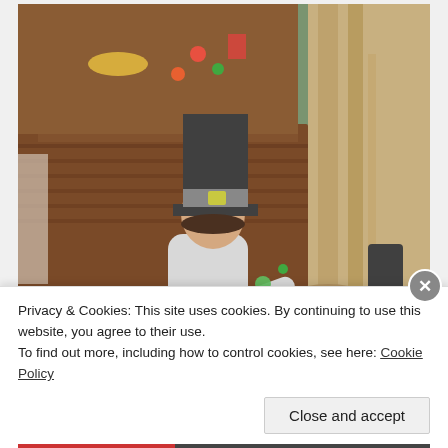[Figure (photo): Two young children outdoors wearing pilgrim-style paper hats, standing near a wooden table with wicker cornucopia baskets and colorful items. One child wears a tall black and grey pilgrim hat and a grey outfit; the other wears a blue striped shirt and a pilgrim bonnet/headband made of brown paper. Background shows a tree with textured bark.]
Privacy & Cookies: This site uses cookies. By continuing to use this website, you agree to their use.
To find out more, including how to control cookies, see here: Cookie Policy
Close and accept